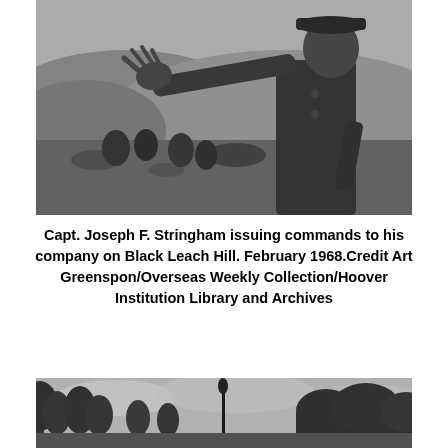[Figure (photo): Black and white photograph of Capt. Joseph F. Stringham pointing with outstretched arm, issuing commands on Black Leach Hill, February 1968. Soldiers are visible in the background on a hillside.]
Capt. Joseph F. Stringham issuing commands to his company on Black Leach Hill. February 1968.Credit Art Greenspon/Overseas Weekly Collection/Hoover Institution Library and Archives
[Figure (photo): Black and white photograph showing a landscape with trees, jungle vegetation, and a tall thin pole or antenna visible against a cloudy sky.]